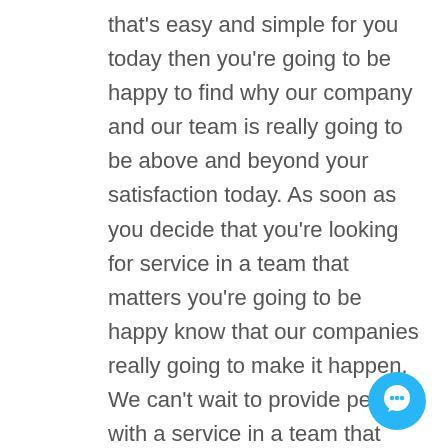that's easy and simple for you today then you're going to be happy to find why our company and our team is really going to be above and beyond your satisfaction today. As soon as you decide that you're looking for service in a team that matters you're going to be happy know that our companies really going to make it happen. We can't wait to provide people with a service in a team that they can be happy with because of the way they were always going to extra mile to give people a service in a team that matters today. People want to getting contact is because they know they were going to give you a service in a company that you can be happy with.
[Figure (illustration): Blue circular chat/message button in the bottom-right corner]